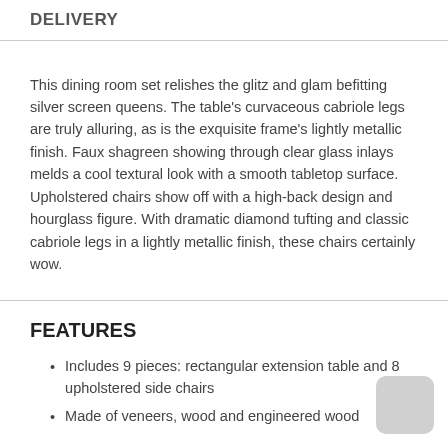DELIVERY
This dining room set relishes the glitz and glam befitting silver screen queens. The table's curvaceous cabriole legs are truly alluring, as is the exquisite frame's lightly metallic finish. Faux shagreen showing through clear glass inlays melds a cool textural look with a smooth tabletop surface. Upholstered chairs show off with a high-back design and hourglass figure. With dramatic diamond tufting and classic cabriole legs in a lightly metallic finish, these chairs certainly wow.
FEATURES
Includes 9 pieces: rectangular extension table and 8 upholstered side chairs
Made of veneers, wood and engineered wood